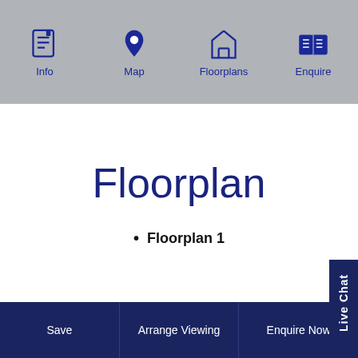Info | Map | Floorplans | Enquire
Floorplan
Floorplan 1
Save | Arrange Viewing | Enquire Now